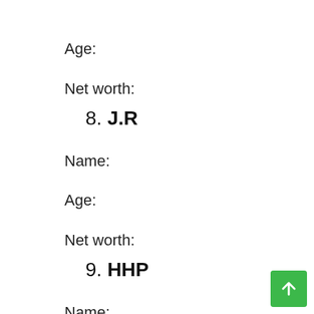Age:
Net worth:
8. J.R
Name:
Age:
Net worth:
9. HHP
Name:
Age: